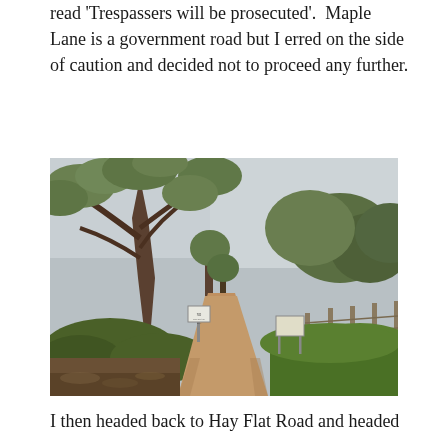read 'Trespassers will be prosecuted'. Maple Lane is a government road but I erred on the side of caution and decided not to proceed any further.
[Figure (photo): A dirt track road leading into a bush/woodland area with native Australian eucalyptus trees on both sides. Green grass on the right, a small sign visible on the left side of the track, and overcast sky above.]
I then headed back to Hay Flat Road and headed